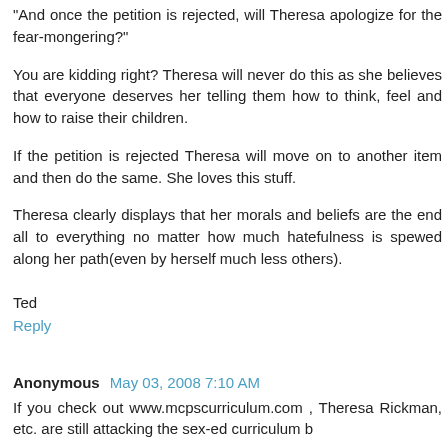"And once the petition is rejected, will Theresa apologize for the fear-mongering?"
You are kidding right? Theresa will never do this as she believes that everyone deserves her telling them how to think, feel and how to raise their children.
If the petition is rejected Theresa will move on to another item and then do the same. She loves this stuff.
Theresa clearly displays that her morals and beliefs are the end all to everything no matter how much hatefulness is spewed along her path(even by herself much less others).
Ted
Reply
Anonymous May 03, 2008 7:10 AM
If you check out www.mcpscurriculum.com , Theresa Rickman, etc. are still attacking the sex-ed curriculum b